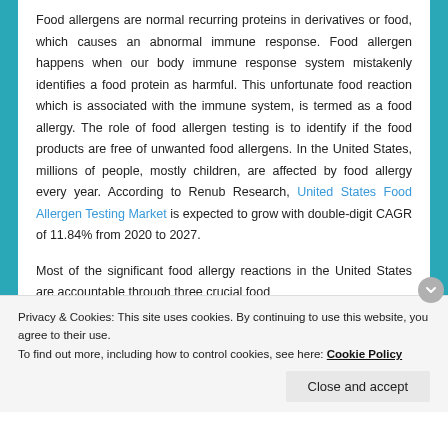Food allergens are normal recurring proteins in derivatives or food, which causes an abnormal immune response. Food allergen happens when our body immune response system mistakenly identifies a food protein as harmful. This unfortunate food reaction which is associated with the immune system, is termed as a food allergy. The role of food allergen testing is to identify if the food products are free of unwanted food allergens. In the United States, millions of people, mostly children, are affected by food allergy every year. According to Renub Research, United States Food Allergen Testing Market is expected to grow with double-digit CAGR of 11.84% from 2020 to 2027.
Most of the significant food allergy reactions in the United States are accountable through three crucial food
Privacy & Cookies: This site uses cookies. By continuing to use this website, you agree to their use.
To find out more, including how to control cookies, see here: Cookie Policy